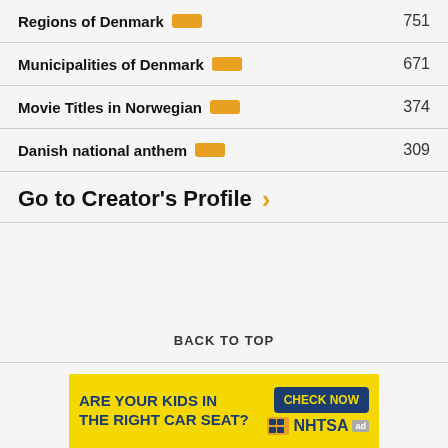Regions of Denmark  751
Municipalities of Denmark  671
Movie Titles in Norwegian  374
Danish national anthem  309
Go to Creator's Profile
BACK TO TOP
[Figure (infographic): Yellow advertisement banner: ARE YOUR KIDS IN THE RIGHT CAR SEAT? with CHECK NOW button and NHTSA logo with ad badge]